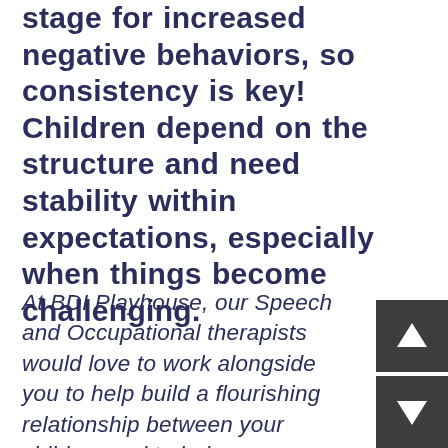stage for increased negative behaviors, so consistency is key! Children depend on the structure and need stability within expectations, especially when things become challenging.
At BDI Playhouse, our Speech and Occupational therapists would love to work alongside you to help build a flourishing relationship between your children and to help you optimize your time with all your kids.  Our Occupational therapists can provide assistance with the management daily routines for the family, foster positive